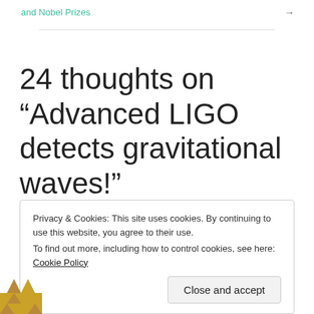and Nobel Prizes →
24 thoughts on “Advanced LIGO detects gravitational waves!”
Privacy & Cookies: This site uses cookies. By continuing to use this website, you agree to their use.
To find out more, including how to control cookies, see here: Cookie Policy
Close and accept